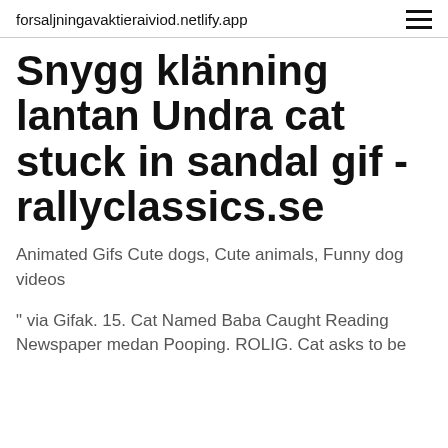forsaljningavaktieraiviod.netlify.app
Snygg klänning lantan Undra cat stuck in sandal gif - rallyclassics.se
Animated Gifs Cute dogs, Cute animals, Funny dog videos
" via Gifak. 15. Cat Named Baba Caught Reading Newspaper medan Pooping. ROLIG. Cat asks to be